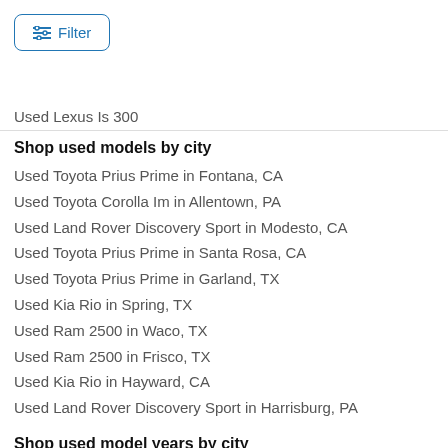Filter
Used Lexus Is 300
Shop used models by city
Used Toyota Prius Prime in Fontana, CA
Used Toyota Corolla Im in Allentown, PA
Used Land Rover Discovery Sport in Modesto, CA
Used Toyota Prius Prime in Santa Rosa, CA
Used Toyota Prius Prime in Garland, TX
Used Kia Rio in Spring, TX
Used Ram 2500 in Waco, TX
Used Ram 2500 in Frisco, TX
Used Kia Rio in Hayward, CA
Used Land Rover Discovery Sport in Harrisburg, PA
Shop used model years by city
Used Nissan Altima 2010 in Reading, PA
Used Nissan Versa 2017 in Houston, TX